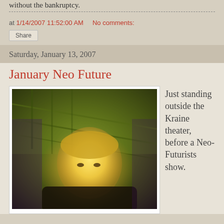without the bankruptcy.
at 1/14/2007 11:52:00 AM   No comments:
Share
Saturday, January 13, 2007
January Neo Future
[Figure (photo): Person with short blonde hair standing outside the Kraine theater before a Neo-Futurists show, lit with warm yellow light against a dark background of stairs/railings]
Just standing outside the Kraine theater, before a Neo-Futurists show.